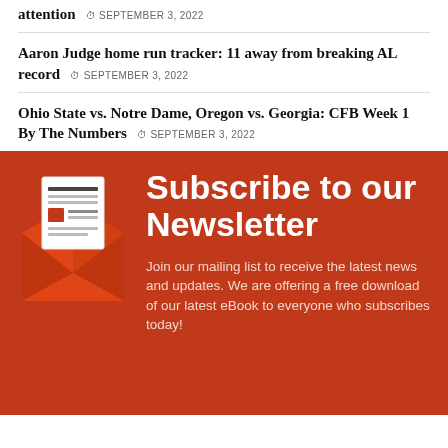attention  SEPTEMBER 3, 2022
Aaron Judge home run tracker: 11 away from breaking AL record  SEPTEMBER 3, 2022
Ohio State vs. Notre Dame, Oregon vs. Georgia: CFB Week 1 By The Numbers  SEPTEMBER 3, 2022
[Figure (illustration): Newsletter envelope icon with paper/letter inside, in orange/red colors]
Subscribe to our Newsletter
Join our mailing list to receive the latest news and updates. We are offering a free download of our latest eBook to everyone who subscribes today!